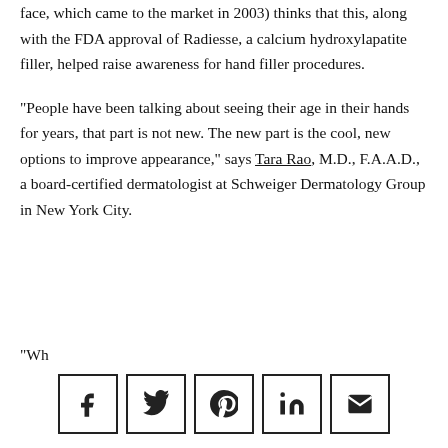face, which came to the market in 2003) thinks that this, along with the FDA approval of Radiesse, a calcium hydroxylapatite filler, helped raise awareness for hand filler procedures.
“People have been talking about seeing their age in their hands for years, that part is not new. The new part is the cool, new options to improve appearance,” says Tara Rao, M.D., F.A.A.D., a board-certified dermatologist at Schweiger Dermatology Group in New York City.
“Wh...
[Figure (infographic): Social sharing icons row: Facebook, Twitter, Pinterest, LinkedIn, Email — each in a square bordered box]